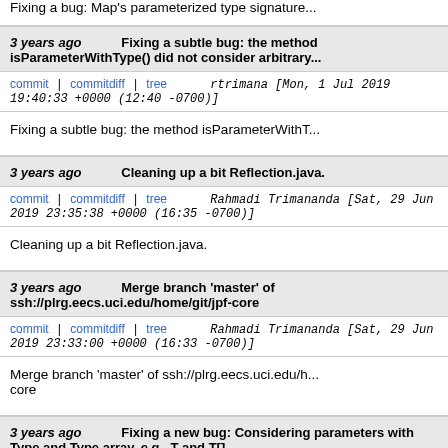Fixing a bug: Map's parameterized type signature...
3 years ago   Fixing a subtle bug: the method isParameterWithType() did not consider arbitrary...
commit | commitdiff | tree   rtrimana [Mon, 1 Jul 2019 19:40:33 +0000 (12:40 -0700)]
Fixing a subtle bug: the method isParameterWithT...
3 years ago   Cleaning up a bit Reflection.java.
commit | commitdiff | tree   Rahmadi Trimananda [Sat, 29 Jun 2019 23:35:38 +0000 (16:35 -0700)]
Cleaning up a bit Reflection.java.
3 years ago   Merge branch 'master' of ssh://plrg.eecs.uci.edu/home/git/jpf-core
commit | commitdiff | tree   Rahmadi Trimananda [Sat, 29 Jun 2019 23:33:00 +0000 (16:33 -0700)]
Merge branch 'master' of ssh://plrg.eecs.uci.edu/h... core
3 years ago   Fixing a new bug: Considering parameters with Type and Type array, e.g., T and T[]